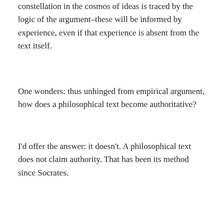constellation in the cosmos of ideas is traced by the logic of the argument–these will be informed by experience, even if that experience is absent from the text itself.
One wonders: thus unhinged from empirical argument, how does a philosophical text become authoritative?
I'd offer the answer: it doesn't. A philosophical text does not claim authority. That has been its method since Socrates.
September 18, 2015
Leave a Reply
de Beauvoir on science as human freedom
I appears to be unable to stop writing blog posts about